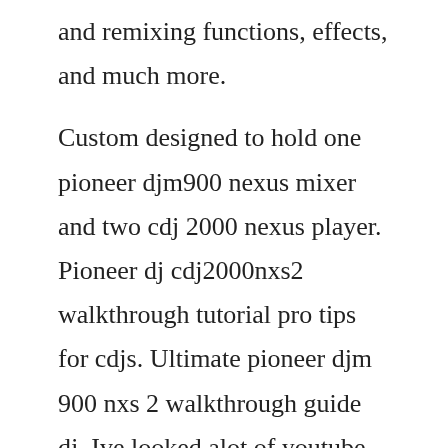and remixing functions, effects, and much more.
Custom designed to hold one pioneer djm900 nexus mixer and two cdj 2000 nexus player. Pioneer dj cdj2000nxs2 walkthrough tutorial pro tips for cdjs. Ultimate pioneer djm 900 nxs 2 walkthrough guide dj. Ive looked alot of youtube videos and i cant see much diffrence between them so im already leaning towrds the. This topic contains 4 replies, has 4 voices, and was last updated by dj vintage 4 years, 7 months ago. Mar 06, 2015 home forums